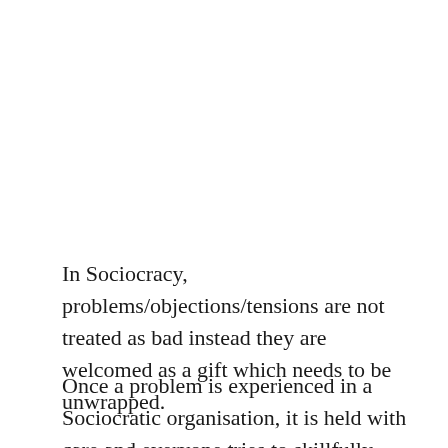In Sociocracy, problems/objections/tensions are not treated as bad instead they are welcomed as a gift which needs to be unwrapped.
Once a problem is experienced in a Sociocratic organisation, it is held with care and everyone tries to skillfully navigate through it while